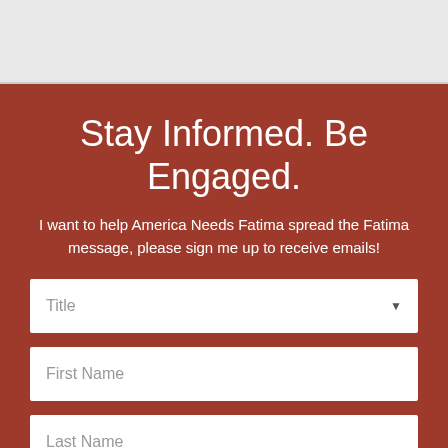Stay Informed. Be Engaged.
I want to help America Needs Fatima spread the Fatima message, please sign me up to receive emails!